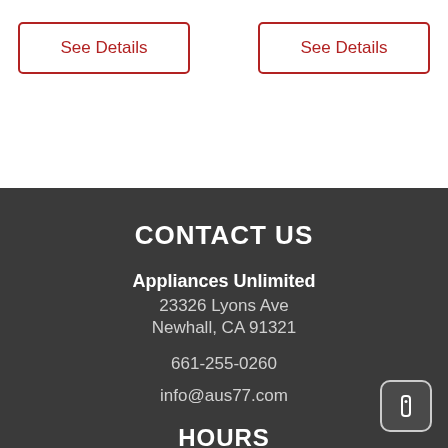See Details
See Details
CONTACT US
Appliances Unlimited
23326 Lyons Ave
Newhall, CA 91321
661-255-0260
info@aus77.com
HOURS